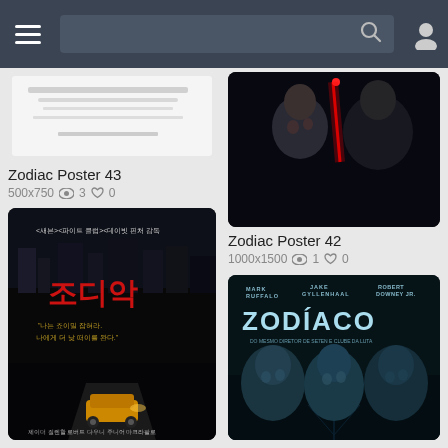Navigation header with hamburger menu, search bar, and user icon
[Figure (screenshot): Zodiac Poster 43 thumbnail - light colored movie poster]
Zodiac Poster 43
500x750  3  0
[Figure (screenshot): Zodiac Poster 42 - dark movie poster with two figures and red lightsaber-like object]
Zodiac Poster 42
1000x1500  1  0
[Figure (screenshot): Korean Zodiac movie poster (조디악) with yellow car on dark road]
[Figure (screenshot): Portuguese Zodiac movie poster (ZODÍACO) with Mark Ruffalo, Jake Gyllenhaal, Robert Downey Jr.]